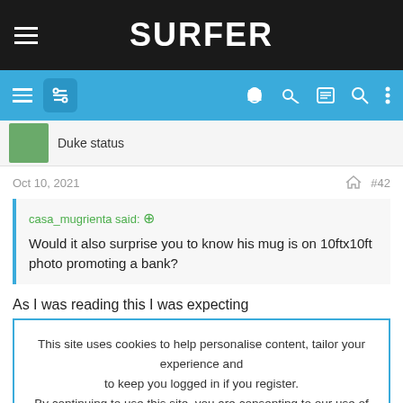SURFER
Duke status
Oct 10, 2021   #42
casa_mugrienta said: Would it also surprise you to know his mug is on 10ftx10ft photo promoting a bank?
As I was reading this I was expecting
This site uses cookies to help personalise content, tailor your experience and to keep you logged in if you register. By continuing to use this site, you are consenting to our use of cookies.
ACCEPT   LEARN MORE...